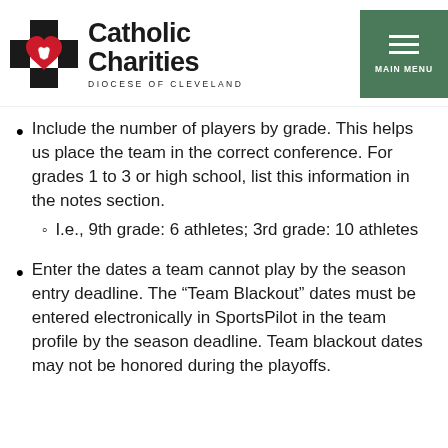[Figure (logo): Catholic Charities Diocese of Cleveland logo with cross and heart icon]
Include the number of players by grade. This helps us place the team in the correct conference. For grades 1 to 3 or high school, list this information in the notes section.
  i.e., 9th grade: 6 athletes; 3rd grade: 10 athletes
Enter the dates a team cannot play by the season entry deadline. The “Team Blackout” dates must be entered electronically in SportsPilot in the team profile by the season deadline. Team blackout dates may not be honored during the playoffs.